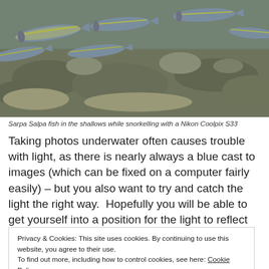[Figure (photo): Underwater photo of Sarpa Salpa fish swimming in shallow water over a rocky/coral bottom, fish have yellow and blue/grey stripes]
Sarpa Salpa fish in the shallows while snorkelling with a Nikon Coolpix S33
Taking photos underwater often causes trouble with light, as there is nearly always a blue cast to images (which can be fixed on a computer fairly easily) – but you also want to try and catch the light the right way.  Hopefully you will be able to get yourself into a position for the light to reflect off the fish or
Privacy & Cookies: This site uses cookies. By continuing to use this website, you agree to their use.
To find out more, including how to control cookies, see here: Cookie Policy

Close and accept
[Figure (photo): Partial underwater photo visible at the very bottom of the page showing teal/blue water]